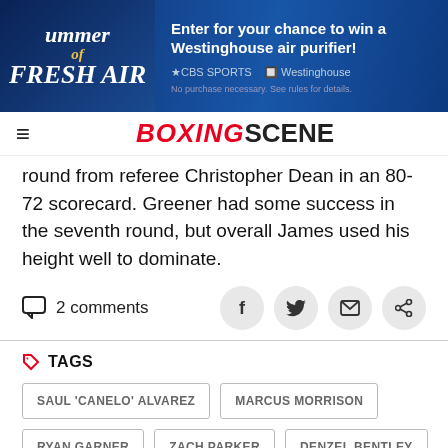[Figure (photo): Summer of Fresh Air advertisement banner for CBS Sports Westinghouse air purifier giveaway]
BOXINGSCENE
round from referee Christopher Dean in an 80-72 scorecard. Greener had some success in the seventh round, but overall James used his height well to dominate.
2 comments
TAGS
SAUL 'CANELO' ALVAREZ
MARCUS MORRISON
RYAN GARNER
ZACH PARKER
DENZEL BENTLEY
EITHAN JAMES